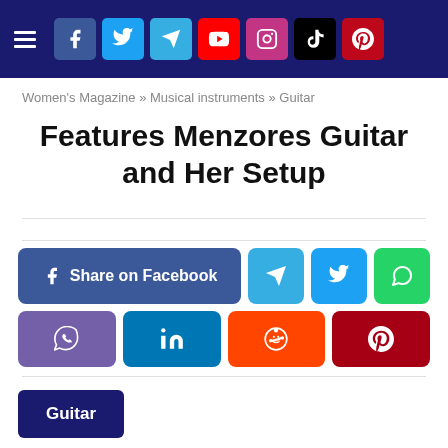Social media navigation bar with hamburger menu and icons: Facebook, Twitter, Telegram, YouTube, Instagram, TikTok, Pinterest
Women's Magazine » Musical instruments » Guitar
Features Menzores Guitar and Her Setup
[Figure (infographic): Social share buttons: Share on Facebook (blue), Telegram (light blue), Twitter (blue), WhatsApp (green), Viber (purple), LinkedIn (dark blue), Reddit (orange), Pinterest (red)]
Guitar